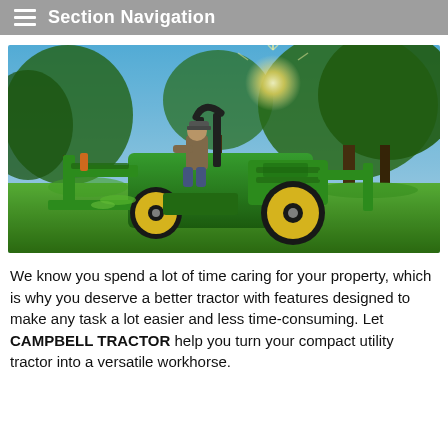Section Navigation
[Figure (photo): Man riding a green and yellow John Deere compact utility tractor with front loader attachment, mowing tall grass in a park-like setting with large trees and bright sunlight in the background.]
We know you spend a lot of time caring for your property, which is why you deserve a better tractor with features designed to make any task a lot easier and less time-consuming. Let CAMPBELL TRACTOR help you turn your compact utility tractor into a versatile workhorse.